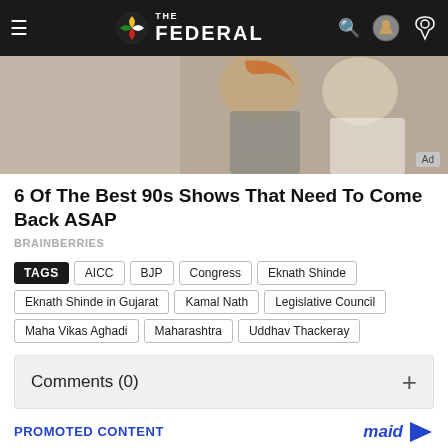THE FEDERAL
[Figure (photo): Advertisement photo showing a woman with red/auburn hair and a man in a gray shirt, appears to be a lifestyle/entertainment ad. Ad badge shown in bottom right corner.]
6 Of The Best 90s Shows That Need To Come Back ASAP
BRAINBERRIES
TAGS  AICC  BJP  Congress  Eknath Shinde  Eknath Shinde in Gujarat  Kamal Nath  Legislative Council  Maha Vikas Aghadi  Maharashtra  Uddhav Thackeray
Comments (0)
PROMOTED CONTENT